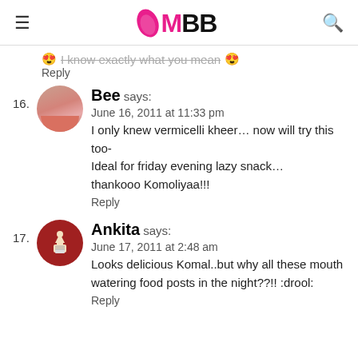IMBB - logo with hamburger menu and search
😍 I know exactly what you mean 😍
Reply
16. Bee says:
June 16, 2011 at 11:33 pm
I only knew vermicelli kheer… now will try this too- Ideal for friday evening lazy snack… thankooo Komoliyaa!!!
Reply
17. Ankita says:
June 17, 2011 at 2:48 am
Looks delicious Komal..but why all these mouth watering food posts in the night??!! :drool:
Reply